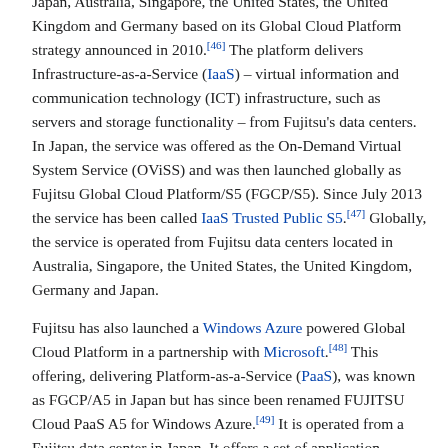Japan, Australia, Singapore, the United States, the United Kingdom and Germany based on its Global Cloud Platform strategy announced in 2010.[46] The platform delivers Infrastructure-as-a-Service (IaaS) – virtual information and communication technology (ICT) infrastructure, such as servers and storage functionality – from Fujitsu's data centers. In Japan, the service was offered as the On-Demand Virtual System Service (OViSS) and was then launched globally as Fujitsu Global Cloud Platform/S5 (FGCP/S5). Since July 2013 the service has been called IaaS Trusted Public S5.[47] Globally, the service is operated from Fujitsu data centers located in Australia, Singapore, the United States, the United Kingdom, Germany and Japan.
Fujitsu has also launched a Windows Azure powered Global Cloud Platform in a partnership with Microsoft.[48] This offering, delivering Platform-as-a-Service (PaaS), was known as FGCP/A5 in Japan but has since been renamed FUJITSU Cloud PaaS A5 for Windows Azure.[49] It is operated from a Fujitsu data center in Japan. It offers a set of application development frameworks, such as Microsoft .NET, Java and PHP, and data storage capabilities consistent with the Windows Azure platform provided by Microsoft. The basic